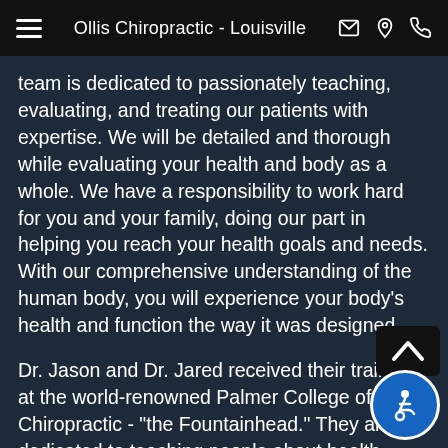Ollis Chiropractic - Louisville
team is dedicated to passionately teaching, evaluating, and treating our patients with expertise.  We will be detailed and thorough while evaluating your health and body as a whole.  We have a responsibility to work hard for you and your family, doing our part in helping you reach your health goals and needs.  With our comprehensive understanding of the human body, you will experience your body's health and function the way it was designed.
Dr. Jason and Dr. Jared received their training at the world-renowned Palmer College of Chiropractic - "the Fountainhead."  They are dedicated to teaching people about health, where it comes from, and how it can be improved, empowering each patient to self-direct. Our chiropractic staff has been...